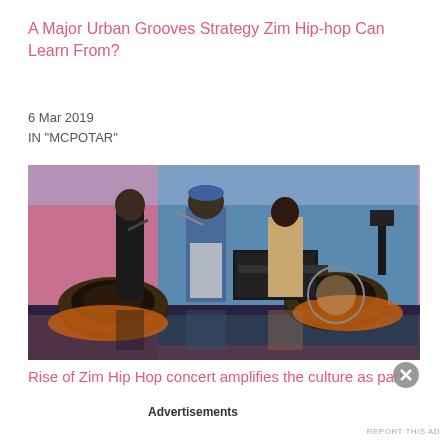A Major Urban Grooves Strategy Zim Hip-hop Can Learn From?
6 Mar 2019
IN "MCPOTAR"
[Figure (photo): Three performers on stage with graffiti mural background, two rappers in foreground and a DJ in the background, colorful urban setting with large tires used as stage props]
Rise of Zim Hip Hop concert amplifies the culture as part
Advertisements